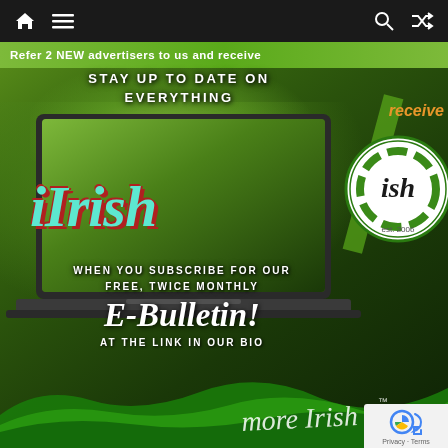Navigation bar with home, menu, search, and shuffle icons
[Figure (infographic): iIrish newsletter promotion: 'Stay up to date on everything iIrish when you subscribe for our free, twice monthly E-Bulletin! At the link in our bio' — overlaid on green Irish landscape background with a laptop computer showing the iIrish logo. Right side shows the iIrish publication logo and a watercolor green brush stroke with 'more irish' text at bottom. Top strip reads 'Refer 2 NEW advertisers to us and receive'. Partially visible 'receive' text in orange on right side.]
Refer 2 NEW advertisers to us and receive
STAY UP TO DATE ON EVERYTHING
iIrish
WHEN YOU SUBSCRIBE FOR OUR FREE, TWICE MONTHLY E-Bulletin! AT THE LINK IN OUR BIO
Privacy · Terms